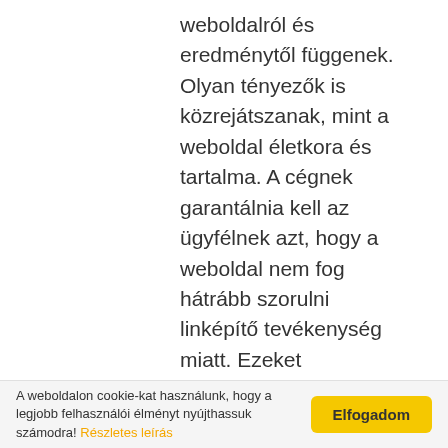weboldalról és eredménytől függenek. Olyan tényezők is közrejátszanak, mint a weboldal életkora és tartalma. A cégnek garantálnia kell az ügyfélnek azt, hogy a weboldal nem fog hátrább szorulni linképítő tevékenység miatt. Ezeket részletesen meg kell beszélni a cégnek és az ügyfélnek. Célunk a marketing stratégia mellet, hogy a folyamat végén egy teljesen elégedett ügyfél álljon. Ehhez viszont őszinte kommunikáció szükséges mindkét részről. Ez pont olyan mint egy párkapcsolat. Ha a partnerek nem
A weboldalon cookie-kat használunk, hogy a legjobb felhasználói élményt nyújthassuk számodra! Részletes leírás